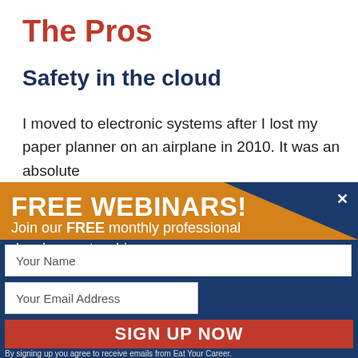The Pros
Safety in the cloud
I moved to electronic systems after I lost my paper planner on an airplane in 2010. It was an absolute
[Figure (infographic): Promotional modal overlay with orange and dark blue diagonal split design advertising FREE WEBINARS - Join our FREE monthly professional development webinars, with a close (x) button in the top right]
Your Name
Your Email Address
SIGN UP NOW
By signing up you agree to receive emails from Eat Your Career.